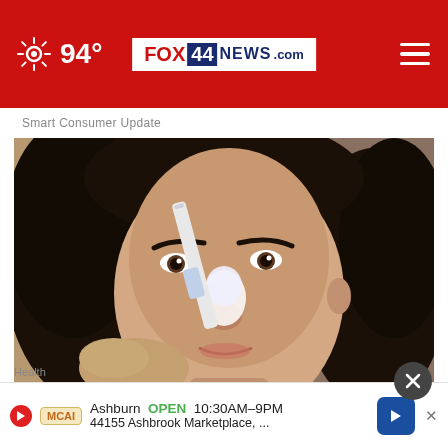94° FOX 44 NEWS.com
Smart Consumer Update
[Figure (photo): Close-up photo of a dark-haired woman applying white paste to her nose with a brush-like applicator]
Removing Moles & Skin Tags Has Never Been This
Ashburn  OPEN  10:30AM–9PM
44155 Ashbrook Marketplace, ...
Health